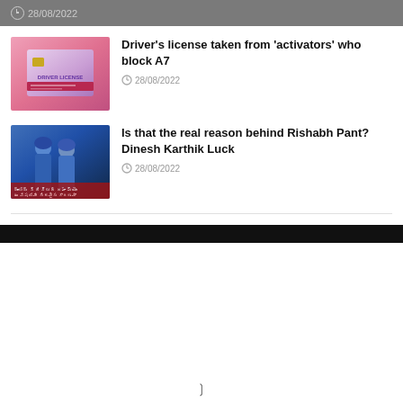28/08/2022
Driver's license taken from 'activators' who block A7
28/08/2022
Is that the real reason behind Rishabh Pant? Dinesh Karthik Luck
28/08/2022